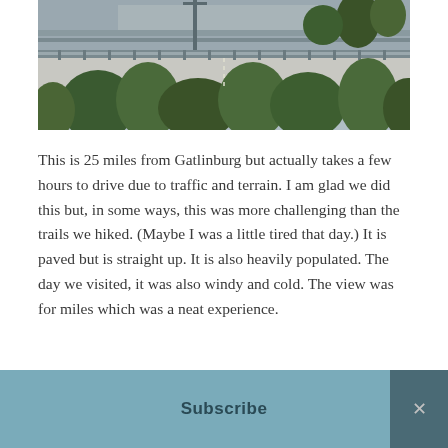[Figure (photo): Aerial or elevated view of a bridge/walkway structure with green pine trees below, taken from above. Bridge railing visible, road or paved path in background.]
This is 25 miles from Gatlinburg but actually takes a few hours to drive due to traffic and terrain. I am glad we did this but, in some ways, this was more challenging than the trails we hiked. (Maybe I was a little tired that day.) It is paved but is straight up. It is also heavily populated. The day we visited, it was also windy and cold. The view was for miles which was a neat experience.
Because we enjoyed the trails so much, we went...